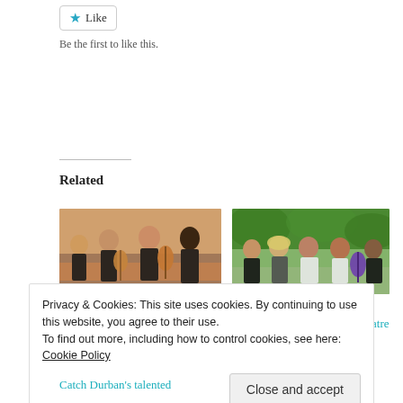Like
Be the first to like this.
Related
[Figure (photo): Photo of The Reals band members playing guitars outdoors]
Don't miss The Reals' tribute to Dire Straits at the Rhumbelow
April 7, 2016
In "Music"
[Figure (photo): Photo of The Reals band members sitting outdoors with guitars]
The Reals pay tribute to Dire Straits at the Rhumbelow Theatre
September 21, 2016
In "Music"
Privacy & Cookies: This site uses cookies. By continuing to use this website, you agree to their use.
To find out more, including how to control cookies, see here: Cookie Policy
Close and accept
Catch Durban's talented